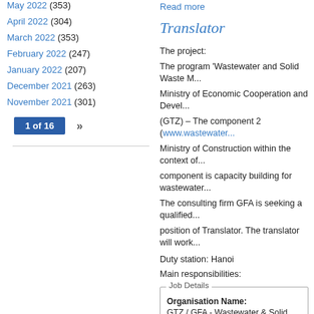May 2022 (353)
April 2022 (304)
March 2022 (353)
February 2022 (247)
January 2022 (207)
December 2021 (263)
November 2021 (301)
1 of 16 »
Read more
Translator
The project:
The program 'Wastewater and Solid Waste M...
Ministry of Economic Cooperation and Devel...
(GTZ) – The component 2 (www.wastewater...
Ministry of Construction within the context of...
component is capacity building for wastewater...
The consulting firm GFA is seeking a qualified...
position of Translator. The translator will work...
Duty station: Hanoi
Main responsibilities:
| Job Details |
| --- |
| Organisation Name: | GTZ / GFA - Wastewater & Solid Waste Ma... |
| Location: | Ha Noi |
| Application Deadline: | Wed, 2010-01-20 |